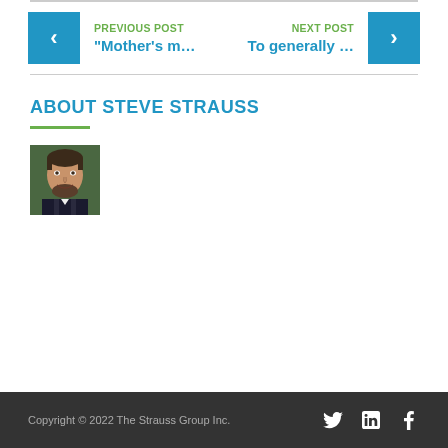PREVIOUS POST
"Mother's m...
NEXT POST
To generally ...
ABOUT STEVE STRAUSS
[Figure (photo): Headshot photo of Steve Strauss, a man with short dark hair and beard, smiling, wearing a blazer]
Copyright © 2022 The Strauss Group Inc.